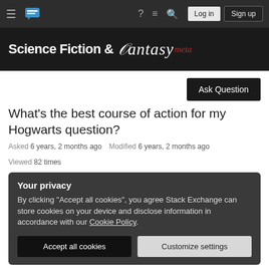Navigation bar with hamburger menu, Stack Exchange logo, help icon, chat icon, search icon, Log in and Sign up buttons
[Figure (screenshot): Science Fiction & Fantasy meta site header banner with white text on dark/black background]
What's the best course of action for my Hogwarts question?
Asked 6 years, 2 months ago   Modified 6 years, 2 months ago   Viewed 82 times
Your privacy
By clicking "Accept all cookies", you agree Stack Exchange can store cookies on your device and disclose information in accordance with our Cookie Policy.
Accept all cookies   Customize settings
What's the best way to get a good answer for future visits to the site?